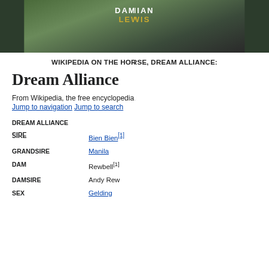[Figure (photo): Movie poster or promotional image with text 'DAMIAN LEWIS' in white and gold letters on a dark green background]
WIKIPEDIA ON THE HORSE, DREAM ALLIANCE:
Dream Alliance
From Wikipedia, the free encyclopedia
Jump to navigation  Jump to search
|  |  |
| --- | --- |
| DREAM ALLIANCE |  |
| SIRE | Bien Bien[1] |
| GRANDSIRE | Manila |
| DAM | Rewbell[1] |
| DAMSIRE | Andy Rew |
| SEX | Gelding |